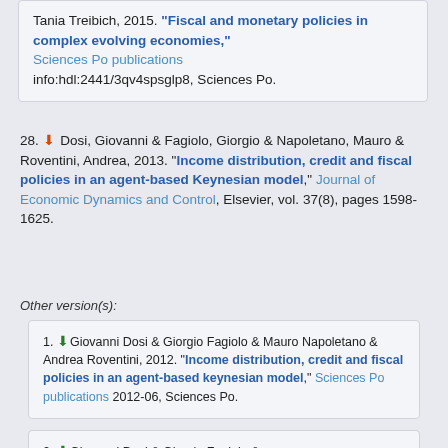Tania Treibich, 2015. "Fiscal and monetary policies in complex evolving economies," Sciences Po publications info:hdl:2441/3qv4spsglp8, Sciences Po.
28. Dosi, Giovanni & Fagiolo, Giorgio & Napoletano, Mauro & Roventini, Andrea, 2013. "Income distribution, credit and fiscal policies in an agent-based Keynesian model," Journal of Economic Dynamics and Control, Elsevier, vol. 37(8), pages 1598-1625.
Other version(s):
1. Giovanni Dosi & Giorgio Fagiolo & Mauro Napoletano & Andrea Roventini, 2012. "Income distribution, credit and fiscal policies in an agent-based keynesian model," Sciences Po publications 2012-06, Sciences Po.
2. Giovanni Dosi & Giorgio Fagiolo &